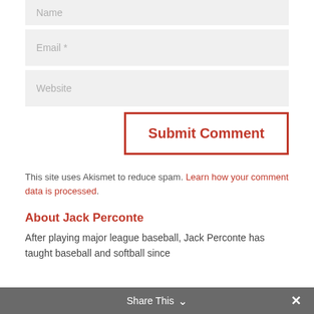[Figure (screenshot): Form input field with placeholder text 'Name']
[Figure (screenshot): Form input field with placeholder text 'Email *']
[Figure (screenshot): Form input field with placeholder text 'Website']
[Figure (screenshot): Submit Comment button with red border and red text]
This site uses Akismet to reduce spam. Learn how your comment data is processed.
About Jack Perconte
After playing major league baseball, Jack Perconte has taught baseball and softball since
Share This